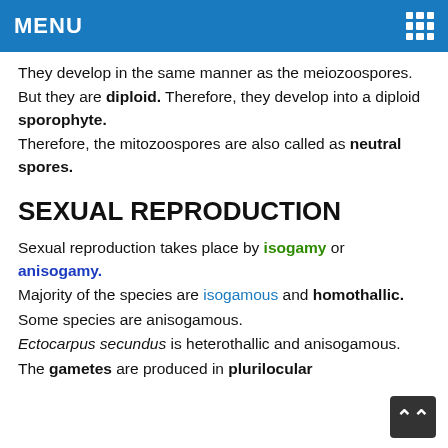MENU
They develop in the same manner as the meiozoospores.
But they are diploid. Therefore, they develop into a diploid sporophyte.
Therefore, the mitozoospores are also called as neutral spores.
SEXUAL REPRODUCTION
Sexual reproduction takes place by isogamy or anisogamy.
Majority of the species are isogamous and homothallic.
Some species are anisogamous.
Ectocarpus secundus is heterothallic and anisogamous.
The gametes are produced in plurilocular